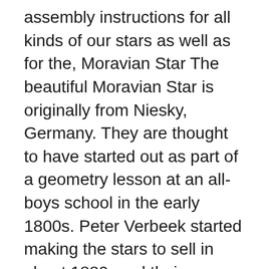assembly instructions for all kinds of our stars as well as for the, Moravian Star The beautiful Moravian Star is originally from Niesky, Germany. They are thought to have started out as part of a geometry lesson at an all-boys school in the early 1800s. Peter Verbeek started making the stars to sell in about 1880, and their popularity soon caught on..
Folded Strips for Moravian Star in Silver Gold White Pattern 60 Strips in 2 Widths Paper Strips for Moravian Stars, German Stars and Frobel Stars. Christmas Mix Colors. 100 strips per pack. 1/2 inch x 19 inch in Size 5.0 out of 5 stars 2. $12.00. Paper Strips for Weaving Projects. Paper Strips for Moravian